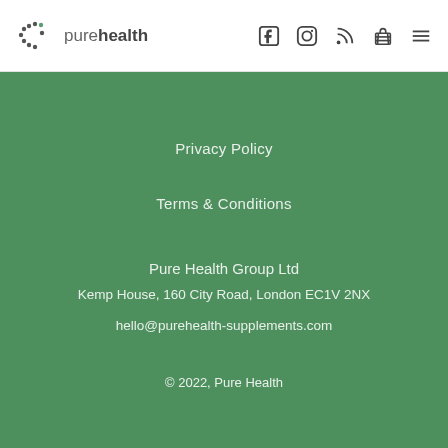purehealth
Privacy Policy
Terms & Conditions
Pure Health Group Ltd
Kemp House, 160 City Road, London EC1V 2NX
hello@purehealth-supplements.com
© 2022, Pure Health